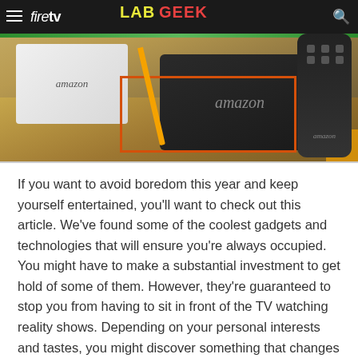[Figure (photo): Photo of Amazon Fire TV box packaging (white), Amazon Fire TV device (black), and Amazon remote control on a wooden surface. Page header shows Fire TV logo and Lab Geek logo overlay.]
If you want to avoid boredom this year and keep yourself entertained, you'll want to check out this article. We've found some of the coolest gadgets and technologies that will ensure you're always occupied. You might have to make a substantial investment to get hold of some of them. However, they're guaranteed to stop you from having to sit in front of the TV watching reality shows. Depending on your personal interests and tastes, you might discover something that changes your life for the better. With that in mind, let's not waste any more time on long intros. You'll want to